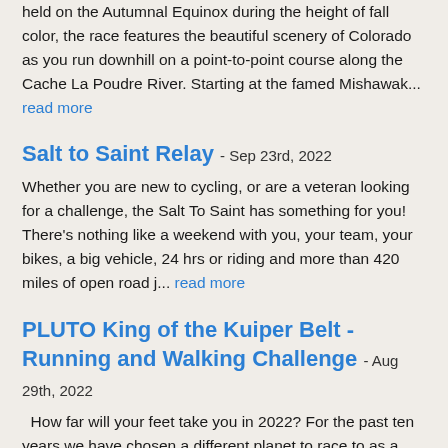held on the Autumnal Equinox during the height of fall color, the race features the beautiful scenery of Colorado as you run downhill on a point-to-point course along the Cache La Poudre River. Starting at the famed Mishawak... read more
Salt to Saint Relay - Sep 23rd, 2022
Whether you are new to cycling, or are a veteran looking for a challenge, the Salt To Saint has something for you! There's nothing like a weekend with you, your team, your bikes, a big vehicle, 24 hrs or riding and more than 420 miles of open road j... read more
PLUTO King of the Kuiper Belt - Running and Walking Challenge - Aug 29th, 2022
How far will your feet take you in 2022? For the past ten years we have chosen a different planet to race to as a group.  When we first started the journey, Pluto was still considered a planet...